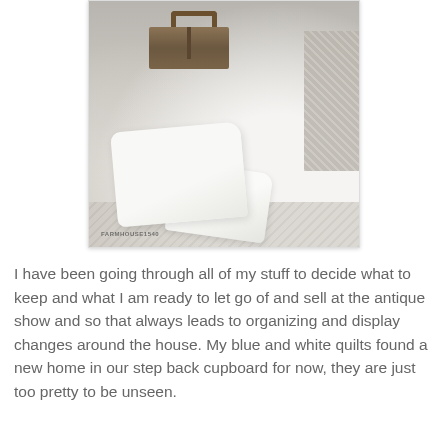[Figure (photo): A farmhouse-style interior photo showing a wicker chair with white pillows/cushions and a rustic wooden toolbox on a surface in the background. Watermark reads FARMHOUSE1540.]
I have been going through all of my stuff to decide what to keep and what I am ready to let go of and sell at the antique show and so that always leads to organizing and display changes around the house. My blue and white quilts found a new home in our step back cupboard for now, they are just too pretty to be unseen.